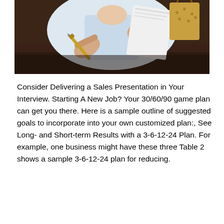[Figure (photo): A person in a white shirt holding a pen and reviewing a document/letter at a dark wooden desk. A brown bag is visible in the background.]
Consider Delivering a Sales Presentation in Your Interview. Starting A New Job? Your 30/60/90 game plan can get you there. Here is a sample outline of suggested goals to incorporate into your own customized plan:, See Long- and Short-term Results with a 3-6-12-24 Plan. For example, one business might have these three Table 2 shows a sample 3-6-12-24 plan for reducing.